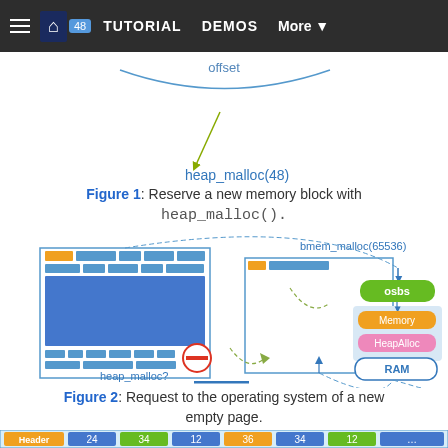TUTORIAL   DEMOS   More
[Figure (illustration): Diagram showing heap_malloc(48) with offset arrow pointing to memory block visualization]
Figure 1: Reserve a new memory block with heap_malloc().
[Figure (illustration): Diagram showing bmem_malloc(65536) request to operating system with osbs, Memory, HeapAlloc, and RAM components. heap_malloc? shown with no-entry sign on left side.]
Figure 2: Request to the operating system of a new empty page.
[Figure (illustration): Bottom table row showing Header and numbered memory cells: 24, 34, 12, 36, 34, 12]